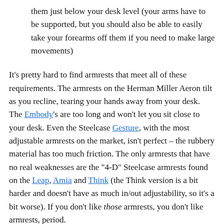them just below your desk level (your arms have to be supported, but you should also be able to easily take your forearms off them if you need to make large movements)
It’s pretty hard to find armrests that meet all of these requirements. The armrests on the Herman Miller Aeron tilt as you recline, tearing your hands away from your desk. The Embody’s are too long and won’t let you sit close to your desk. Even the Steelcase Gesture, with the most adjustable armrests on the market, isn’t perfect – the rubbery material has too much friction. The only armrests that have no real weaknesses are the “4-D” Steelcase armrests found on the Leap, Amia and Think (the Think version is a bit harder and doesn’t have as much in/out adjustability, so it’s a bit worse). If you don’t like those armrests, you don’t like armrests, period.
RECAP (THE TOM TEST)